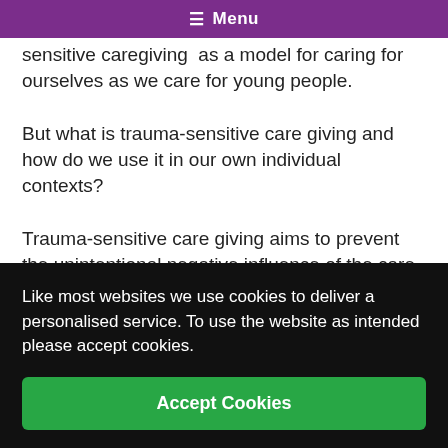☰ Menu
sensitive caregiving  as a model for caring for ourselves as we care for young people.
But what is trauma-sensitive care giving and how do we use it in our own individual contexts?
Trauma-sensitive care giving aims to prevent the unintentional negative influence of the care givers ...ntact ...s in ...le can ...y be ...t in
Like most websites we use cookies to deliver a personalised service. To use the website as intended please accept cookies.
Accept Cookies